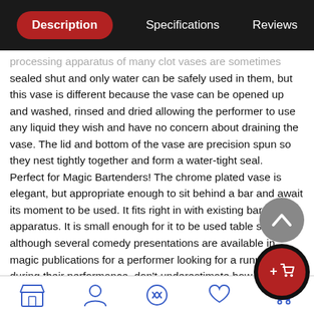Description | Specifications | Reviews
processing apparatus of many clot vases are sometimes sealed shut and only water can be safely used in them, but this vase is different because the vase can be opened up and washed, rinsed and dried allowing the performer to use any liquid they wish and have no concern about draining the vase. The lid and bottom of the vase are precision spun so they nest tightly together and form a water-tight seal.
Perfect for Magic Bartenders! The chrome plated vase is elegant, but appropriate enough to sit behind a bar and await its moment to be used. It fits right in with existing bar apparatus. It is small enough for it to be used table side, and although several comedy presentations are available in magic publications for a performer looking for a running gag during their performance, don't underestimate how amazing this effect is when performed as serious magic.
We say with confidence, this is the single best miniature Lota available to magicians today.
Now includes a 5/8oz Full Size Cheater Shot Glass. This shot glass makes each and every pour look like it fills the shot glass to
Store | Account | Shuffle | Wishlist | Cart